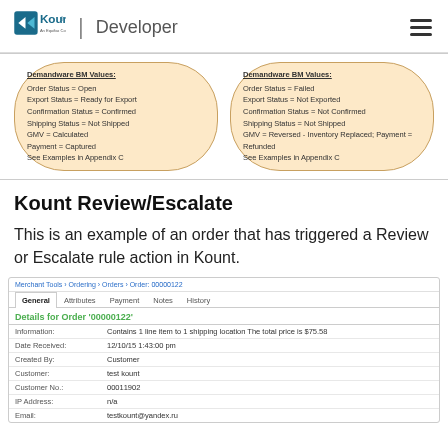Kount | Developer
[Figure (infographic): Two oval/rounded boxes side by side showing Demandware BM Values for approved and declined orders. Left box: Order Status = Open, Export Status = Ready for Export, Confirmation Status = Confirmed, Shipping Status = Not Shipped, GMV = Calculated, Payment = Captured, See Examples in Appendix C. Right box: Order Status = Failed, Export Status = Not Exported, Confirmation Status = Not Confirmed, Shipping Status = Not Shipped, GMV = Reversed - Inventory Replaced; Payment = Refunded, See Examples in Appendix C.]
Kount Review/Escalate
This is an example of an order that has triggered a Review or Escalate rule action in Kount.
[Figure (screenshot): Screenshot of a Demandware order management interface showing order 00000122. Tabs: General, Attributes, Payment, Notes, History. Details for Order '00000122' shown in green. Fields: Information (Contains 1 line item to 1 shipping location The total price is $75.58), Date Received (12/10/15 1:43:00 pm), Created By (Customer), Customer (test kount), Customer No. (00011902), IP Address (n/a), Email (testkount@yandex.ru)]